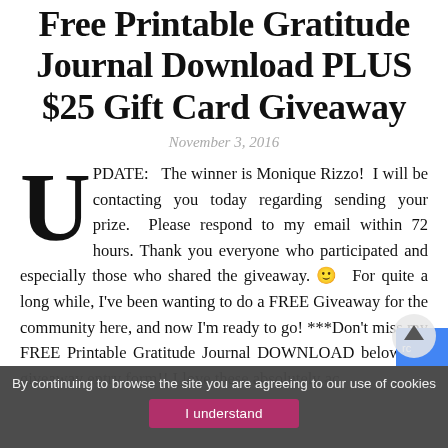Free Printable Gratitude Journal Download PLUS $25 Gift Card Giveaway
November 3, 2016
UPDATE: The winner is Monique Rizzo! I will be contacting you today regarding sending your prize. Please respond to my email within 72 hours. Thank you everyone who participated and especially those who shared the giveaway. 🙂 For quite a long while, I've been wanting to do a FREE Giveaway for the community here, and now I'm ready to go! ***Don't miss my FREE Printable Gratitude Journal DOWNLOAD below the giveaway entry form!! I love these absolutely ac…
By continuing to browse the site you are agreeing to our use of cookies
I understand